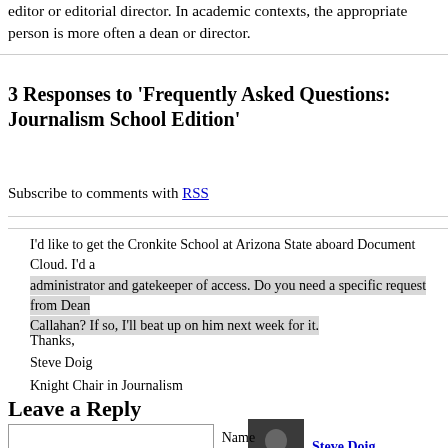editor or editorial director. In academic contexts, the appropriate person is more often a dean or director.
3 Responses to 'Frequently Asked Questions: Journalism School Edition'
Subscribe to comments with RSS
I'd like to get the Cronkite School at Arizona State aboard Document Cloud. I'd a administrator and gatekeeper of access. Do you need a specific request from Dean Callahan? If so, I'll beat up on him next week for it.
Thanks,
Steve Doig
Knight Chair in Journalism
Leave a Reply
Steve Doig
24 Mar 11 at 10:41 pm
Name (required)
I would like to register Eastern Illinois University's journalism program as the as DocumentCloud. I would be the administrator for our organization. Thanks so mu considering this.